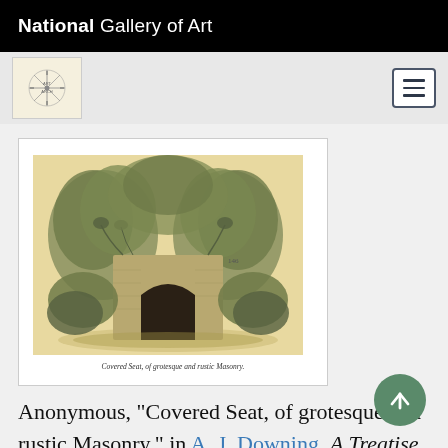National Gallery of Art
[Figure (illustration): An illustration of a covered seat of grotesque and rustic masonry, showing an arched entrance surrounded by dense foliage and trees, with caption 'Covered Seat, of grotesque and rustic Masonry.']
Anonymous, "Covered Seat, of grotesque and rustic Masonry," in A. J. Downing, A Treatise on the Theory and Practice of